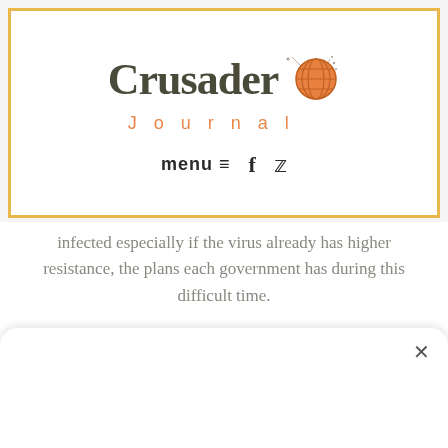Crusader Journal
infected especially if the virus already has higher resistance, the plans each government has during this difficult time.
How will you be informed or be updated? You may already have your television but you might also encountering poor signal or connection. It will be the best to change your tv antenna and look for a better
[Figure (screenshot): Popup/modal bar at bottom of screen with X close button]